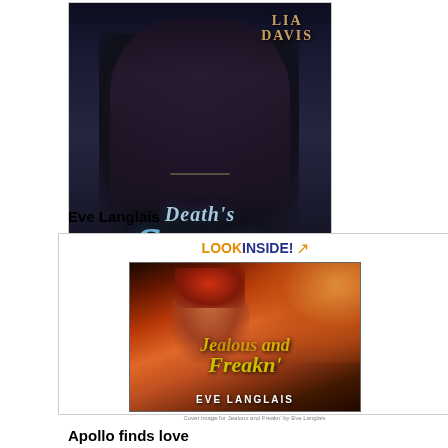[Figure (illustration): Book cover for 'Death's Storm' by Lia Davis — dark fantasy/romance cover featuring a shirtless male figure with dark hair, dark stormy background, title in blue italic font, subtitle 'A Thornwood Legacy' at bottom]
Eve Langlais
[Figure (illustration): Book cover for 'Jealous and Freakn' by Eve Langlais — paranormal romance cover with fiery orange/red background, female figure with red hair, 'LOOK INSIDE!' banner at top]
Apollo finds love